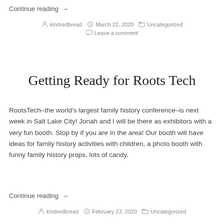Continue reading →
kindredbread  March 22, 2020  Uncategorized  Leave a comment
Getting Ready for Roots Tech
RootsTech–the world's largest family history conference–is next week in Salt Lake City! Jonah and I will be there as exhibitors with a very fun booth. Stop by if you are in the area! Our booth will have ideas for family history activities with children, a photo booth with funny family history props, lots of candy,
Continue reading →
kindredbread  February 23, 2020  Uncategorized